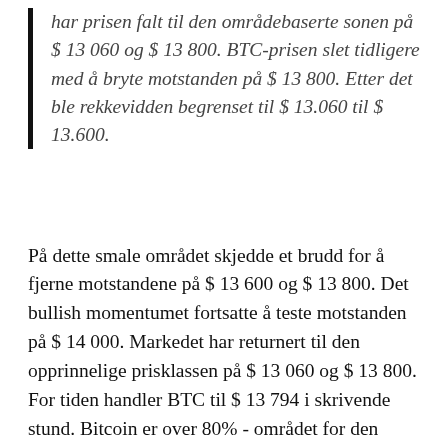har prisen falt til den områdebaserte sonen på $ 13 060 og $ 13 800. BTC-prisen slet tidligere med å bryte motstanden på $ 13 800. Etter det ble rekkevidden begrenset til $ 13.060 til $ 13.600.
På dette smale området skjedde et brudd for å fjerne motstandene på $ 13 600 og $ 13 800. Det bullish momentumet fortsatte å teste motstanden på $ 14 000. Markedet har returnert til den opprinnelige prisklassen på $ 13 060 og $ 13 800. For tiden handler BTC til $ 13 794 i skrivende stund. Bitcoin er over 80% - området for den daglige stokastiske. Markedet er i sterk bullish fart